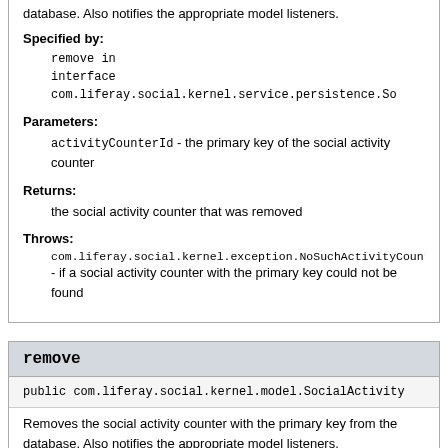database. Also notifies the appropriate model listeners.
Specified by:
remove in interface com.liferay.social.kernel.service.persistence.So
Parameters:
activityCounterId - the primary key of the social activity counter
Returns:
the social activity counter that was removed
Throws:
com.liferay.social.kernel.exception.NoSuchActivityCount - if a social activity counter with the primary key could not be found
remove
public com.liferay.social.kernel.model.SocialActivity
Removes the social activity counter with the primary key from the database. Also notifies the appropriate model listeners.
Specified by: